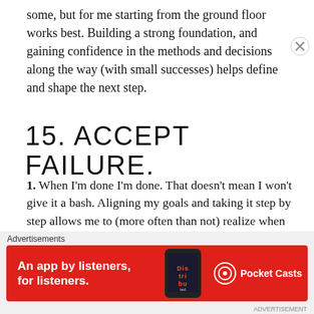some, but for me starting from the ground floor works best. Building a strong foundation, and gaining confidence in the methods and decisions along the way (with small successes) helps define and shape the next step.
15. ACCEPT FAILURE.
1. When I'm done I'm done. That doesn't mean I won't give it a bash. Aligning my goals and taking it step by step allows me to (more often than not) realize when I've put enough into something or if it's time to GTFO. There really is no failure right? Just opportunities to learn and be better.
[Figure (other): Advertisement banner for Pocket Casts app. Red background with white text reading 'An app by listeners, for listeners.' with a phone image showing 'Distributed' text on screen and Pocket Casts logo.]